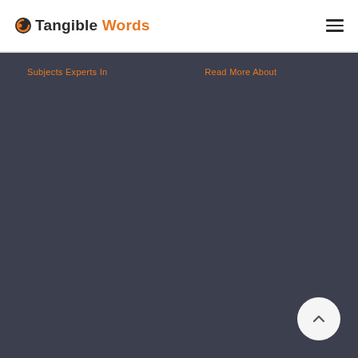Tangible Words
Subjects Experts In
Read More About